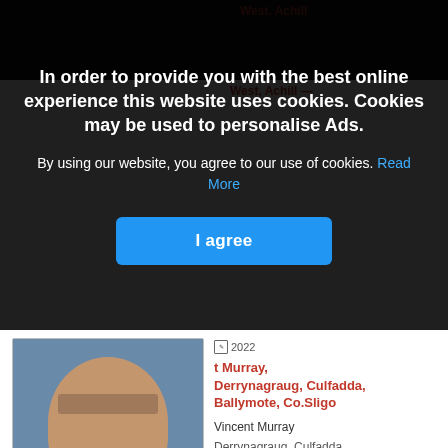[Figure (photo): Cookie consent overlay modal with dark semi-transparent background over a website listing page]
In order to provide you with the best online experience this website uses cookies. Cookies may be used to personalise Ads.
By using our website, you agree to our use of cookies. Read More
I agree
[Figure (photo): Photo of a middle-aged man]
Vincent Murray
Derrynagraug, Culfadda, Ballymote, Co.Sligo
Vincent Murray
Derrynagraug, Culfadda,
Ballymote, Co.Sligo - suddenly
Predeceased by…
[Figure (photo): Photo of a woman with red hair]
Jul 20, 2022
Bridget (Tess) Mooney nee Munnelly, Enniscoe, Crossmolina, Co. Mayo
Bridget (Tess) Mooney nee Munnelly...